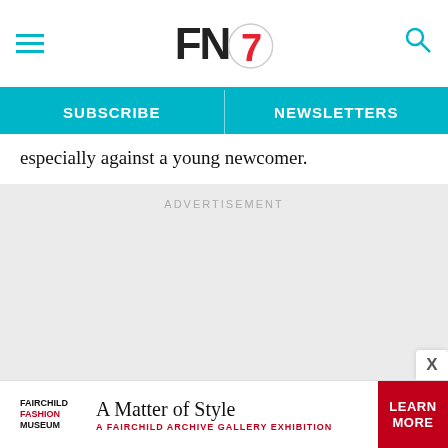FN7 — Footwear News header with hamburger menu and search icon
SUBSCRIBE | NEWSLETTERS
especially against a young newcomer.
ADVERTISEMENT
[Figure (other): Advertisement placeholder area (grey background)]
Fairchild Fashion Museum — A Matter of Style — A Fairchild Archive Gallery Exhibition — LEARN MORE